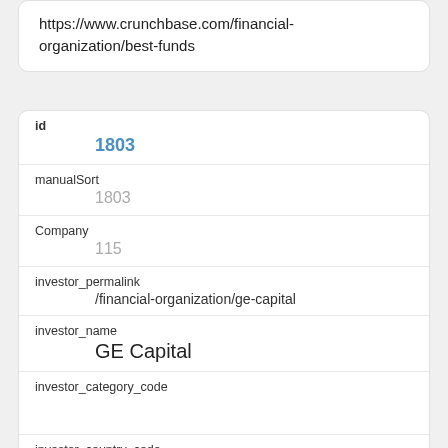https://www.crunchbase.com/financial-organization/best-funds
| Field | Value |
| --- | --- |
| id | 1803 |
| manualSort | 1803 |
| Company | 115 |
| investor_permalink | /financial-organization/ge-capital |
| investor_name | GE Capital |
| investor_category_code |  |
| investor_country_code | CAN |
| investor_state_code |  |
| investor_region |  |